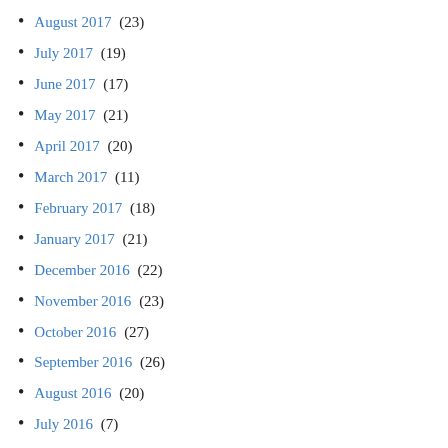August 2017 (23)
July 2017 (19)
June 2017 (17)
May 2017 (21)
April 2017 (20)
March 2017 (11)
February 2017 (18)
January 2017 (21)
December 2016 (22)
November 2016 (23)
October 2016 (27)
September 2016 (26)
August 2016 (20)
July 2016 (7)
June 2016 (4)
May 2016 (5)